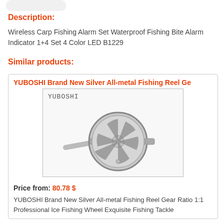Description:
Wireless Carp Fishing Alarm Set Waterproof Fishing Bite Alarm Indicator 1+4 Set 4 Color LED B1229
Similar products:
YUBOSHI Brand New Silver All-metal Fishing Reel Ge
[Figure (photo): YUBOSHI branded silver all-metal fishing reel, circular design with spoked openings, shown at an angle]
Price from: 80.78 $
YUBOSHI Brand New Silver All-metal Fishing Reel Gear Ratio 1:1 Professional Ice Fishing Wheel Exquisite Fishing Tackle